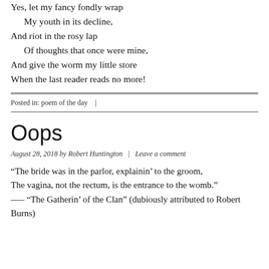Yes, let my fancy fondly wrap
    My youth in its decline,
And riot in the rosy lap
    Of thoughts that once were mine,
And give the worm my little store
When the last reader reads no more!
Posted in: poem of the day   |
Oops
August 28, 2018 by Robert Huntington   |   Leave a comment
“The bride was in the parlor, explainin’ to the groom,
The vagina, not the rectum, is the entrance to the womb.”
—– “The Gatherin’ of the Clan” (dubiously attributed to Robert Burns)